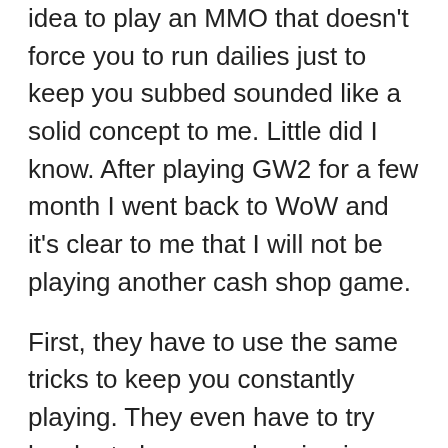idea to play an MMO that doesn't force you to run dailies just to keep you subbed sounded like a solid concept to me. Little did I know. After playing GW2 for a few month I went back to WoW and it's clear to me that I will not be playing another cash shop game.
First, they have to use the same tricks to keep you constantly playing. They even have to try harder to keep you logging in because there's no “I payed and therefore I have to play” thinking. Their daily achievements are no less brutal and even more required then the WoW dailies.
But the most annoying thing is that GW2 is designed to keep you poor because of the cash shop. Mobs drop very little gold and expenses